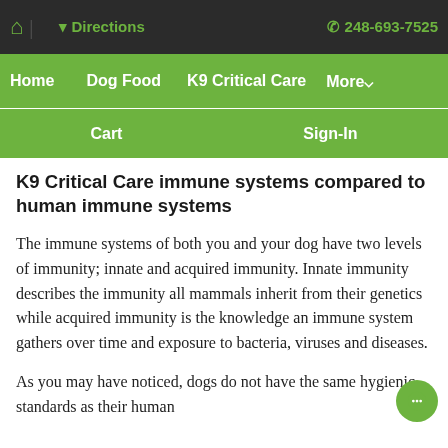🏠 | 📍 Directions   📞 248-693-7525
Home   Dog Food   K9 Critical Care   More▾
Cart   Sign-In
K9 Critical Care immune systems compared to human immune systems
The immune systems of both you and your dog have two levels of immunity; innate and acquired immunity. Innate immunity describes the immunity all mammals inherit from their genetics while acquired immunity is the knowledge an immune system gathers over time and exposure to bacteria, viruses and diseases.
As you may have noticed, dogs do not have the same hygienic standards as their human